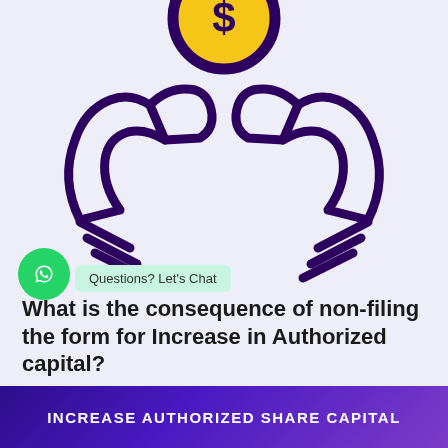[Figure (illustration): Icon of two hands cupping/holding a coin with a dollar sign, drawn in dark purple outline style on a light lavender background]
What is the consequence of non-filing the form for Increase in Authorized capital?
...compl... 17 (2) If the company fails to file the resolution or the agreement...
INCREASE AUTHORIZED SHARE CAPITAL